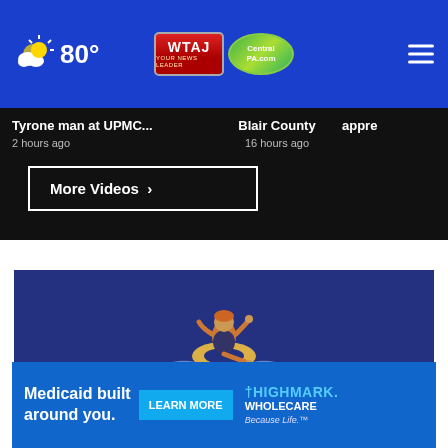80° | WTAJ CentralPA.com
Tyrone man at UPMC... | 2 hours ago
Blair County | 16 hours ago
appre
More Videos ▶
[Figure (illustration): Animated illustration of a person floating on an inner tube in water, on a dark blue background]
✕
[Figure (infographic): Highmark Wholecare advertisement: 'Medicaid built around you.' with LEARN MORE button and Highmark Blue Cross Blue Shield logo. Because Life.]